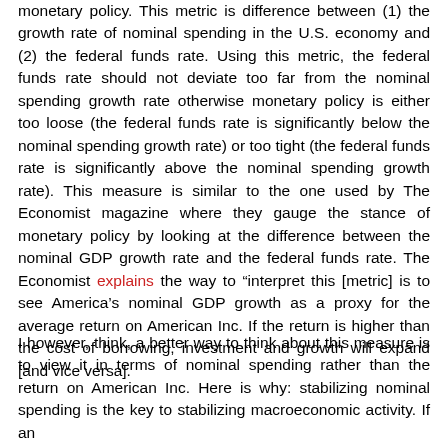monetary policy. This metric is difference between (1) the growth rate of nominal spending in the U.S. economy and (2) the federal funds rate. Using this metric, the federal funds rate should not deviate too far from the nominal spending growth rate otherwise monetary policy is either too loose (the federal funds rate is significantly below the nominal spending growth rate) or too tight (the federal funds rate is significantly above the nominal spending growth rate). This measure is similar to the one used by The Economist magazine where they gauge the stance of monetary policy by looking at the difference between the nominal GDP growth rate and the federal funds rate. The Economist explains the way to “interpret this [metric] is to see America’s nominal GDP growth as a proxy for the average return on American Inc. If the return is higher than the cost of borrowing, investment and growth will expand [and vice versa].
I however, think, a better way to think about this measure is to view it in terms of nominal spending rather than the return on American Inc. Here is why: stabilizing nominal spending is the key to stabilizing macroeconomic activity. If an